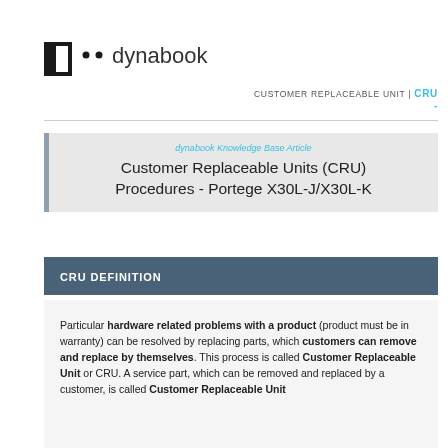[Figure (logo): Dynabook logo — black square bracket shape with two dots and the word 'dynabook' in dark grey]
CUSTOMER REPLACEABLE UNIT | CRU -
dynabook Knowledge Base Article
Customer Replaceable Units (CRU) Procedures - Portege X30L-J/X30L-K
CRU DEFINITION
Particular hardware related problems with a product (product must be in warranty) can be resolved by replacing parts, which customers can remove and replace by themselves. This process is called Customer Replaceable Unit or CRU. A service part, which can be removed and replaced by a customer, is called Customer Replaceable Unit (CRU).